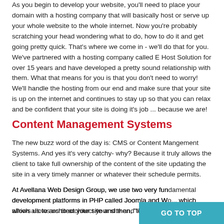As you begin to develop your website, you'll need to place your domain with a hosting company that will basically host or serve up your whole website to the whole internet. Now you're probably scratching your head wondering what to do, how to do it and get going pretty quick. That's where we come in - we'll do that for you. We've partnered with a hosting company called E Host Solution for over 15 years and have developed a pretty sound relationship with them. What that means for you is that you don't need to worry! We'll handle the hosting from our end and make sure that your site is up on the internet and continues to stay up so that you can relax and be confident that your site is doing it's job ... because we are!
Content Management Systems
The new buzz word of the day is: CMS or Content Mangement Systems. And yes it's very catchy- why? Because it truly allows the client to take full ownership of the content of the site updating the site in a very timely manner or whatever their schedule permits.
At Avellana Web Design Group, we use two very fundamental development platforms in PHP called Joomla and Wo... which allows us to architect your site and then, "leave the keys to